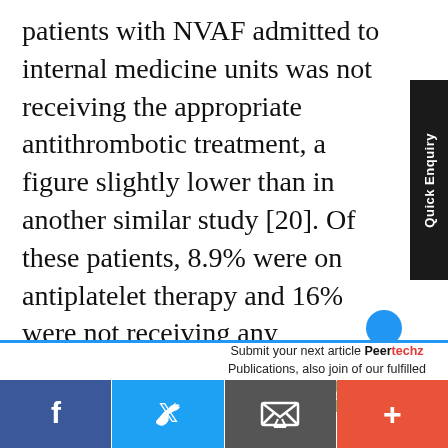patients with NVAF admitted to internal medicine units was not receiving the appropriate antithrombotic treatment, a figure slightly lower than in another similar study [20]. Of these patients, 8.9% were on antiplatelet therapy and 16% were not receiving any antithrombotic therapy. The percentage of patients on antiplatelet therapy was lower than in other similar studies [3,10,24,25], and the percentage of
Submit your next article Peertechz Publications, also join of our fulfilled creators. ↑ Submit a Manuscript